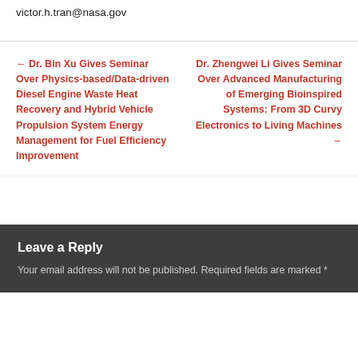victor.h.tran@nasa.gov
← Dr. Bin Xu Gives Seminar Over Physics-based/Data-driven Diesel Engine Waste Heat Recovery and Hybrid Vehicle Propulsion System Energy Management for Fuel Efficiency Improvement
Dr. Zhengwei Li Gives Seminar Over Advanced Manufacturing of Emerging Bioinspired Systems: From 3D Curvy Electronics to Living Machines →
Leave a Reply
Your email address will not be published. Required fields are marked *